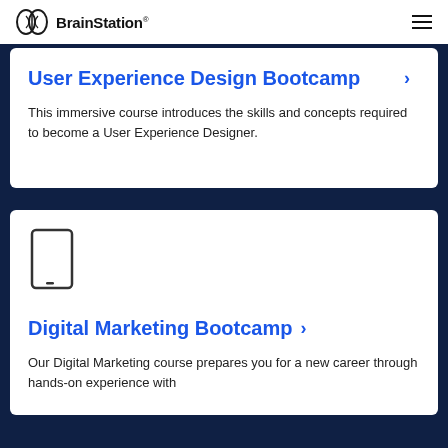BrainStation®
User Experience Design Bootcamp
This immersive course introduces the skills and concepts required to become a User Experience Designer.
[Figure (illustration): Tablet/mobile device icon — outline of a tablet with a small circle/home button at the bottom]
Digital Marketing Bootcamp
Our Digital Marketing course prepares you for a new career through hands-on experience with